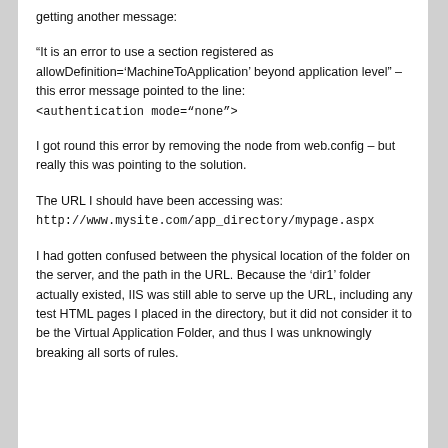getting another message:
“It is an error to use a section registered as allowDefinition='MachineToApplication' beyond application level” – this error message pointed to the line:
<authentication mode="none">
I got round this error by removing the node from web.config – but really this was pointing to the solution.
The URL I should have been accessing was:
http://www.mysite.com/app_directory/mypage.aspx
I had gotten confused between the physical location of the folder on the server, and the path in the URL. Because the ‘dir1’ folder actually existed, IIS was still able to serve up the URL, including any test HTML pages I placed in the directory, but it did not consider it to be the Virtual Application Folder, and thus I was unknowingly breaking all sorts of rules.